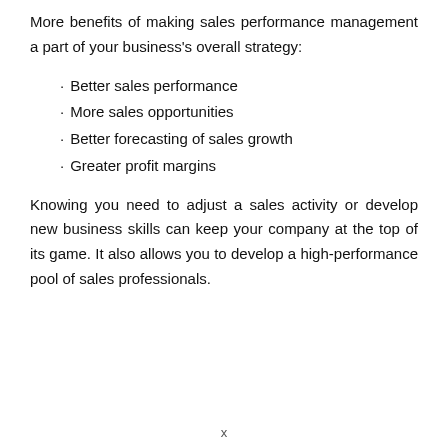More benefits of making sales performance management a part of your business's overall strategy:
Better sales performance
More sales opportunities
Better forecasting of sales growth
Greater profit margins
Knowing you need to adjust a sales activity or develop new business skills can keep your company at the top of its game. It also allows you to develop a high-performance pool of sales professionals.
x